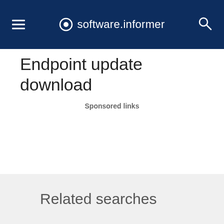software.informer
Endpoint update download
Sponsored links
Related searches